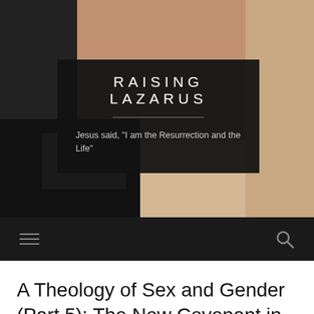[Figure (photo): Hero image showing people's feet with sneakers, dark clothing, and a dark overlay banner with blog title and tagline]
RAISING LAZARUS
Jesus said, "I am the Resurrection and the Life"
Navigation bar with hamburger menu and search icon
A Theology of Sex and Gender (Part 5): The New Covenant in Christ